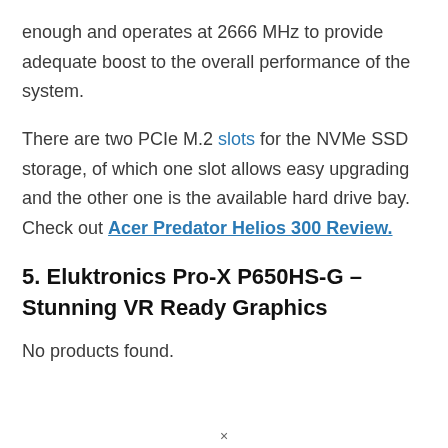enough and operates at 2666 MHz to provide adequate boost to the overall performance of the system.
There are two PCIe M.2 slots for the NVMe SSD storage, of which one slot allows easy upgrading and the other one is the available hard drive bay. Check out Acer Predator Helios 300 Review.
5. Eluktronics Pro-X P650HS-G – Stunning VR Ready Graphics
No products found.